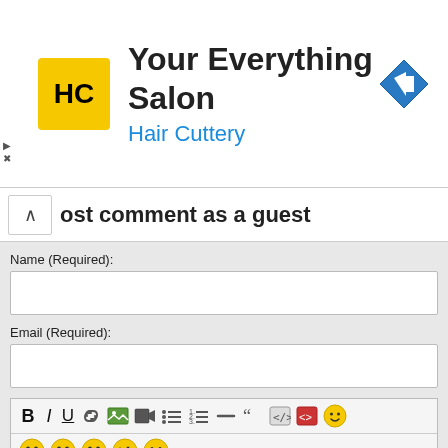[Figure (logo): Hair Cuttery advertisement banner with HC logo (yellow square with HC letters), title 'Your Everything Salon', subtitle 'Hair Cuttery' in blue, and a blue navigation arrow icon on the right]
Post comment as a guest
Name (Required):
Email (Required):
[Figure (screenshot): Rich text editor toolbar with Bold, Italic, Underline, Link, Image, Video, bulleted list, numbered list, dash, quote, code, spoiler, emoji buttons, followed by emoji faces row]